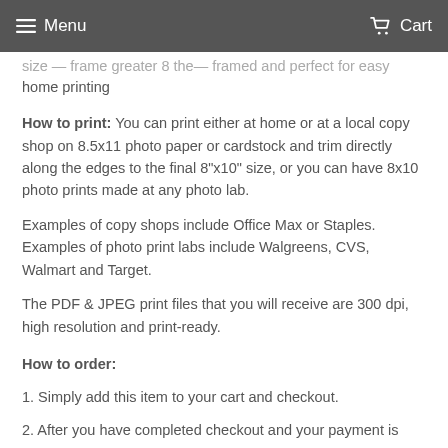Menu  Cart
size — frame greater 8 the— framed and perfect for easy home printing
How to print: You can print either at home or at a local copy shop on 8.5x11 photo paper or cardstock and trim directly along the edges to the final 8"x10" size, or you can have 8x10 photo prints made at any photo lab.
Examples of copy shops include Office Max or Staples. Examples of photo print labs include Walgreens, CVS, Walmart and Target.
The PDF & JPEG print files that you will receive are 300 dpi, high resolution and print-ready.
How to order:
1. Simply add this item to your cart and checkout.
2. After you have completed checkout and your payment is